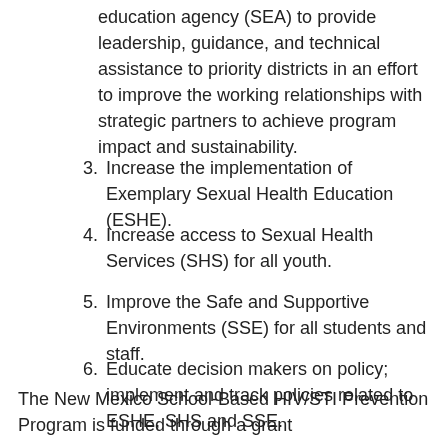education agency (SEA) to provide leadership, guidance, and technical assistance to priority districts in an effort to improve the working relationships with strategic partners to achieve program impact and sustainability.
3. Increase the implementation of Exemplary Sexual Health Education (ESHE).
4. Increase access to Sexual Health Services (SHS) for all youth.
5. Improve the Safe and Supportive Environments (SSE) for all students and staff.
6. Educate decision makers on policy; implement and track policies related to ESHE, SHS and SSE.
The New Mexico School-Based HIV/STI Prevention Program is funded through a grant